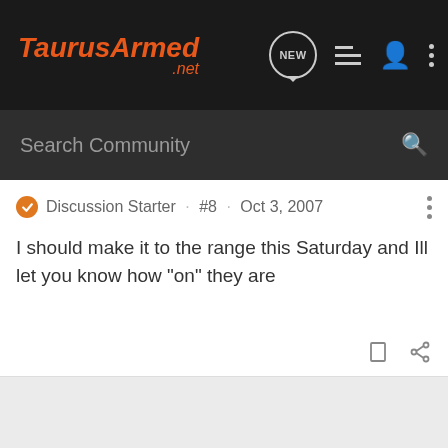TaurusArmed.net
Search Community
Discussion Starter · #8 · Oct 3, 2007
I should make it to the range this Saturday and Ill let you know how "on" they are